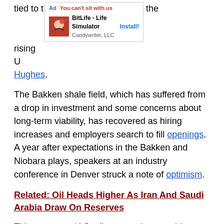tied to t[...] the rising U[...] Hughes.
[Figure (screenshot): Advertisement banner for BitLife - Life Simulator by Candywriter, LLC with an Install! button]
The Bakken shale field, which has suffered from a drop in investment and some concerns about long-term viability, has recovered as hiring increases and employers search to fill openings. A year after expectations in the Bakken and Niobara plays, speakers at an industry conference in Denver struck a note of optimism.
Related: Oil Heads Higher As Iran And Saudi Arabia Draw On Reserves
This comes as U.S. oil exports rise, reaching a record 31.2 million barrels in February 2017. OPEC production cuts, intended to bring up prices, had the knock-on effect of kick-starting US production and fueling a current surge in exports. China has now turned to added U.S. production to replace the drop in OPEC crude, and purchased more than